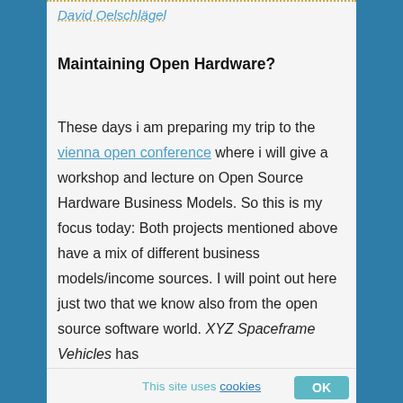David Oelschlägel
Maintaining Open Hardware?
These days i am preparing my trip to the vienna open conference where i will give a workshop and lecture on Open Source Hardware Business Models. So this is my focus today: Both projects mentioned above have a mix of different business models/income sources. I will point out here just two that we know also from the open source software world. XYZ Spaceframe Vehicles has
This site uses cookies  OK